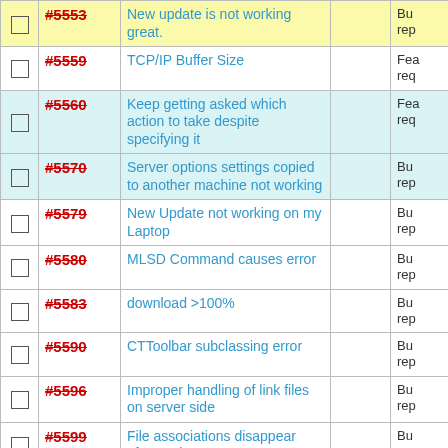|  | ID | Description |  | Type |
| --- | --- | --- | --- | --- |
| ☐ | #5553 | New update is not working great. |  | Bug rep |
| ☐ | #5559 | TCP/IP Buffer Size |  | Feature req |
| ☐ | #5560 | Keep getting asked which action to take despite specifying it |  | Feature req |
| ☐ | #5570 | Server options settings copied to another machine not working |  | Bug rep |
| ☐ | #5579 | New Update not working on my Laptop |  | Bug rep |
| ☐ | #5580 | MLSD Command causes error |  | Bug rep |
| ☐ | #5583 | download >100% |  | Bug rep |
| ☐ | #5590 | CTToolbar subclassing error |  | Bug rep |
| ☐ | #5596 | Improper handling of link files on server side |  | Bug rep |
| ☐ | #5599 | File associations disappear after update |  | Bug rep |
| ☐ | #5600+ | File transfer from MVS USS... |  | Bug rep |